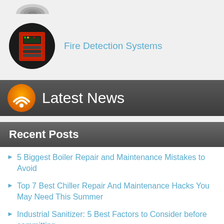[Figure (photo): Fire detection system panel in a circular black badge, with a red control cabinet containing electronic components]
Fire Detection Systems
Latest News
Recent Posts
5 Biggest Boiler Repair and Maintenance Mistakes to Avoid
Top 7 Best Chiller Repair And Maintenance Hacks You May Need This Summer
Industrial Sanitizer: 5 Best Factors to Consider before committing